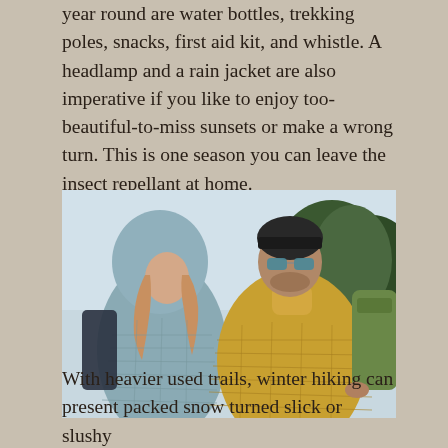year round are water bottles, trekking poles, snacks, first aid kit, and whistle. A headlamp and a rain jacket are also imperative if you like to enjoy too-beautiful-to-miss sunsets or make a wrong turn. This is one season you can leave the insect repellant at home.
[Figure (photo): Two hikers wearing winter jackets facing each other outdoors. Left person wears a light blue/grey puffer jacket with hood up and has long blonde hair. Right person wears a yellow/olive puffer jacket with a dark beanie and sunglasses, carrying a green backpack. Trees visible in background.]
With heavier used trails, winter hiking can present packed snow turned slick or slushy